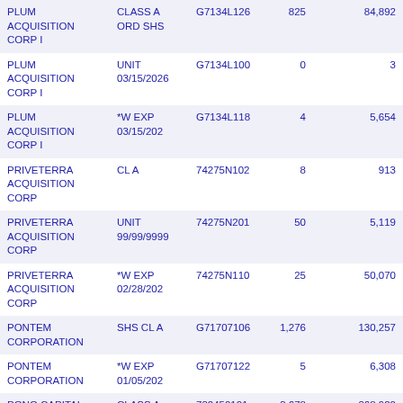| Name | Security Type | CUSIP | Shares | Value |
| --- | --- | --- | --- | --- |
| PLUM ACQUISITION CORP I | CLASS A ORD SHS | G7134L126 | 825 | 84,892 |
| PLUM ACQUISITION CORP I | UNIT 03/15/2026 | G7134L100 | 0 | 3… |
| PLUM ACQUISITION CORP I | *W EXP 03/15/202 | G7134L118 | 4 | 5,654 |
| PRIVETERRA ACQUISITION CORP | CL A | 74275N102 | 8 | 913 |
| PRIVETERRA ACQUISITION CORP | UNIT 99/99/9999 | 74275N201 | 50 | 5,119 |
| PRIVETERRA ACQUISITION CORP | *W EXP 02/28/202 | 74275N110 | 25 | 50,070 |
| PONTEM CORPORATION | SHS CL A | G71707106 | 1,276 | 130,257 |
| PONTEM CORPORATION | *W EXP 01/05/202 | G71707122 | 5 | 6,308 |
| PONO CAPITAL CORP | CLASS A COM | 732450101 | 3,678 | 368,920 |
| PONO CAPITAL CORP | *W EXP 09/30/202 | 732450119 | 49 | 105,126 |
| POWERED BRANDS | CL A | G7209M108 | 402 | 41,150 |
| POEMA GLOBAL HOLDINGS CORP | CL A SHS | G7154B107 | 784 | 79,350 |